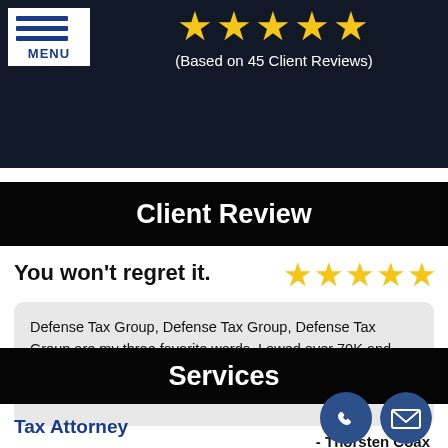[Figure (other): Five gold stars rating display with text '(Based on 45 Client Reviews)' on dark background header]
Client Review
You won't regret it.
[Figure (other): Five gold stars rating for the review]
Defense Tax Group, Defense Tax Group, Defense Tax Group are my three favorite words. I owed over 70K and ended up only paying $500 back. YEP! only $500 on 70K. Quit messing around ... read more
- Thorsten Coax
Services
Tax Attorney